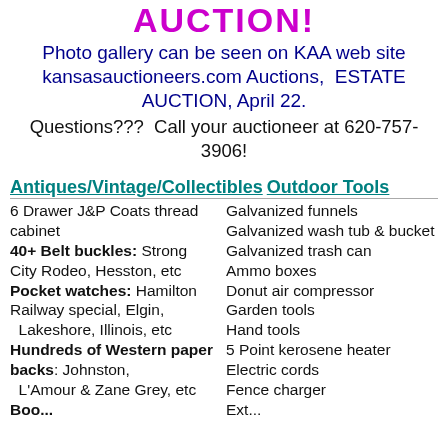AUCTION!
Photo gallery can be seen on KAA web site kansasauctioneers.com Auctions, ESTATE AUCTION, April 22.
Questions???  Call your auctioneer at 620-757-3906!
Antiques/Vintage/Collectibles    Outdoor Tools
6 Drawer J&P Coats thread cabinet
40+ Belt buckles: Strong City Rodeo, Hesston, etc
Pocket watches: Hamilton Railway special, Elgin, Lakeshore, Illinois, etc
Hundreds of Western paper backs: Johnston, L'Amour & Zane Grey, etc
Galvanized funnels
Galvanized wash tub & bucket
Galvanized trash can
Ammo boxes
Donut air compressor
Garden tools
Hand tools
5 Point kerosene heater
Electric cords
Fence charger